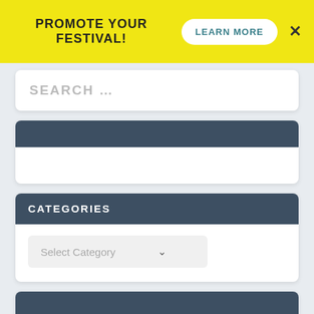PROMOTE YOUR FESTIVAL!
LEARN MORE
SEARCH …
CATEGORIES
Select Category